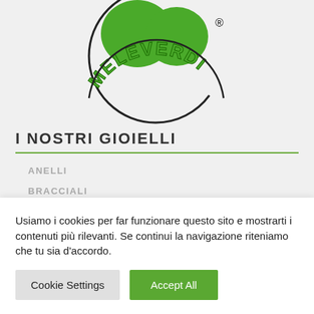[Figure (logo): Meleverdi brand logo: two green apple-shaped blobs on top, green curved text 'MELEVERDI' on a circular arc, registered trademark symbol]
I NOSTRI GIOIELLI
ANELLI
BRACCIALI
CAVIGLIERE
Usiamo i cookies per far funzionare questo sito e mostrarti i contenuti più rilevanti. Se continui la navigazione riteniamo che tu sia d'accordo.
Cookie Settings | Accept All